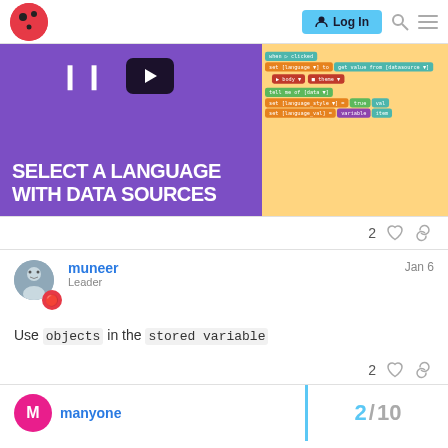Log In
[Figure (screenshot): Video thumbnail with purple background showing 'SELECT A LANGUAGE WITH DATA SOURCES' and a play button, alongside a Scratch programming blocks panel]
2 ♡ 🔗
muneer  Leader  Jan 6
Use objects in the stored variable
2 ♡ 🔗
manyone
2 / 10